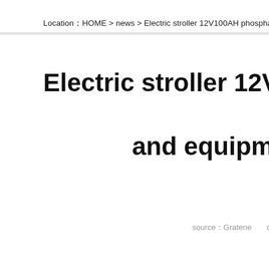Location：HOME > news > Electric stroller 12V100AH phosphate batter
Electric stroller 12V100AH and equipment
source：Gratene    date：2